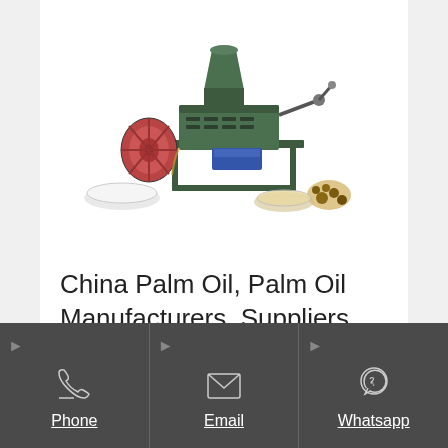[Figure (photo): Green oil press machine / palm oil expeller machine shown on white background with oil seeds and bowls of oil around it]
China Palm Oil, Palm Oil Manufacturers, Suppliers, Price Made-in
Phone | Email | Whatsapp